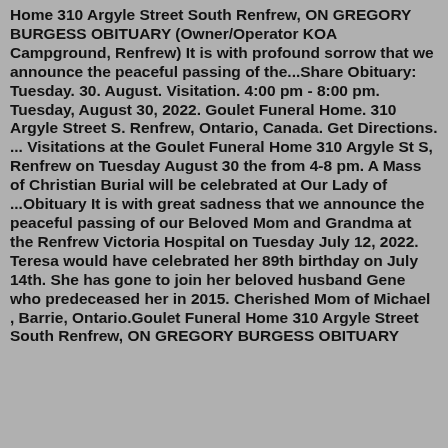Home 310 Argyle Street South Renfrew, ON GREGORY BURGESS OBITUARY (Owner/Operator KOA Campground, Renfrew) It is with profound sorrow that we announce the peaceful passing of the...Share Obituary: Tuesday. 30. August. Visitation. 4:00 pm - 8:00 pm. Tuesday, August 30, 2022. Goulet Funeral Home. 310 Argyle Street S. Renfrew, Ontario, Canada. Get Directions. ... Visitations at the Goulet Funeral Home 310 Argyle St S, Renfrew on Tuesday August 30 the from 4-8 pm. A Mass of Christian Burial will be celebrated at Our Lady of ...Obituary It is with great sadness that we announce the peaceful passing of our Beloved Mom and Grandma at the Renfrew Victoria Hospital on Tuesday July 12, 2022. Teresa would have celebrated her 89th birthday on July 14th. She has gone to join her beloved husband Gene who predeceased her in 2015. Cherished Mom of Michael , Barrie, Ontario.Goulet Funeral Home 310 Argyle Street South Renfrew, ON GREGORY BURGESS OBITUARY (Owner/Operator KOA Campground, Renfrew) It is